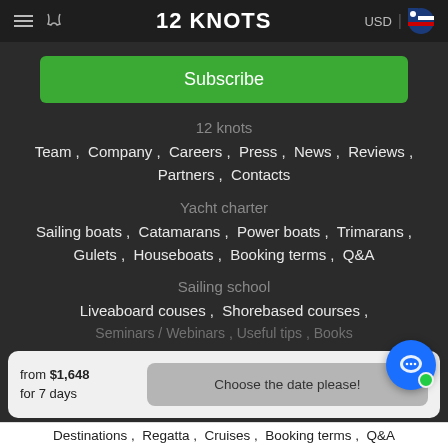12 KNOTS  USD
Subscribe
12 knots
Team,  Company,  Careers,  Press,  News,  Reviews,  Partners,  Contacts
Yacht charter
Sailing boats ,  Catamarans ,  Power boats ,  Trimarans ,  Gulets ,  Houseboats ,  Booking terms ,  Q&A
Sailing school
Liveaboard couses ,  Shorebased courses ,
Seminars / Webinars , Useful tips , Books
from $1,648 for 7 days
Choose the date please!
Destinations ,  Regatta ,  Cruises ,  Booking terms ,  Q&A